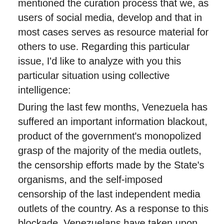mentioned the curation process that we, as users of social media, develop and that in most cases serves as resource material for others to use. Regarding this particular issue, I'd like to analyze with you this particular situation using collective intelligence:
During the last few months, Venezuela has suffered an important information blackout, product of the government's monopolized grasp of the majority of the media outlets, the censorship efforts made by the State's organisms, and the self-imposed censorship of the last independent media outlets of the country. As a response to this blockade, Venezuelans have taken upon themselves to stay informed by invading the digital space. In a relatively short period of time, various non-standard communication networks have been created, verified source lists have been consolidated, applications have